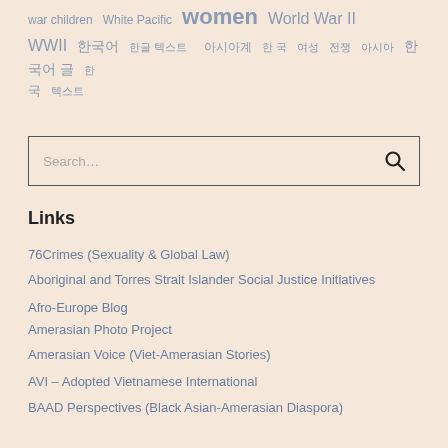war children  White Pacific  women  World War II  WWII  [Korean/Asian characters]  [Korean/Asian characters]  [Asian characters]  [Asian characters/characters]
[Figure (other): Search input box with magnifying glass icon]
Links
76Crimes (Sexuality & Global Law)
Aboriginal and Torres Strait Islander Social Justice Initiatives
Afro-Europe Blog
Amerasian Photo Project
Amerasian Voice (Viet-Amerasian Stories)
AVI – Adopted Vietnamese International
BAAD Perspectives (Black Asian-Amerasian Diaspora)